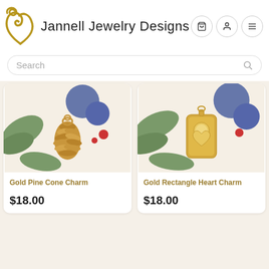Jannell Jewelry Designs
Search
[Figure (photo): Gold Pine Cone Charm jewelry photo on decorative holiday background with greenery and blue/red felt balls]
Gold Pine Cone Charm
$18.00
[Figure (photo): Gold Rectangle Heart Charm jewelry photo on decorative holiday background with greenery and blue/red felt balls]
Gold Rectangle Heart Charm
$18.00